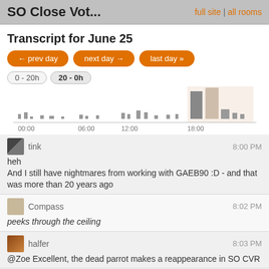SO Close Vot... | full site | all rooms
Transcript for June 25
← prev day | next day → | last day »
0 - 20h   20 - 0h
[Figure (bar-chart): Activity chart for the day]
tink  8:00 PM
heh
And I still have nightmares from working with GAEB90 :D - and that was more than 20 years ago
Compass  8:02 PM
peeks through the ceiling
halfer  8:03 PM
@Zoe Excellent, the dead parrot makes a reappearance in SO CVR
Zoe  8:04 PM
@halfer Why dead parrot? >.>
tink  8:05 PM